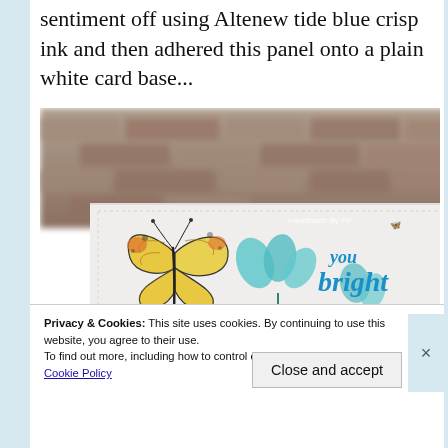sentiment off using Altenew tide blue crisp ink and then adhered this panel onto a plain white card base...
[Figure (photo): A handmade greeting card showing a colorful butterfly and teal flowers with blue script text reading 'you bright my' (partially visible). Watermark reads 'Handmade By Pri'. Background shows blurred brick wall.]
Privacy & Cookies: This site uses cookies. By continuing to use this website, you agree to their use.
To find out more, including how to control cookies, see here: Cookie Policy
Close and accept